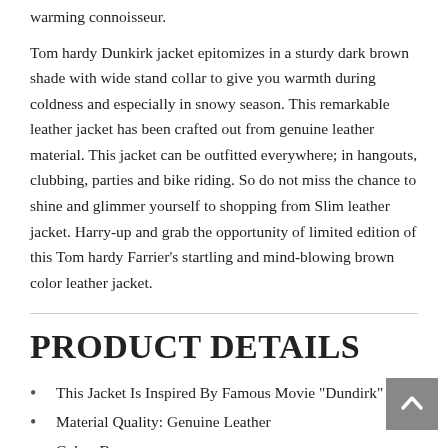warming connoisseur.
Tom hardy Dunkirk jacket epitomizes in a sturdy dark brown shade with wide stand collar to give you warmth during coldness and especially in snowy season. This remarkable leather jacket has been crafted out from genuine leather material. This jacket can be outfitted everywhere; in hangouts, clubbing, parties and bike riding. So do not miss the chance to shine and glimmer yourself to shopping from Slim leather jacket. Harry-up and grab the opportunity of limited edition of this Tom hardy Farrier's startling and mind-blowing brown color leather jacket.
PRODUCT DETAILS
This Jacket Is Inspired By Famous Movie "Dundirk"
Material Quality: Genuine Leather
Color: Brown
Lining: Shearling lining
Front: Zipper Closure